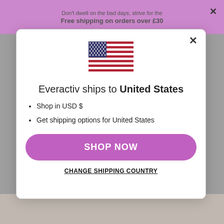Don't dwell on the bad days, strive for the
Free shipping on orders over £30
[Figure (screenshot): US flag emoji/icon centered at top of modal]
Everactiv ships to United States
Shop in USD $
Get shipping options for United States
SHOP NOW
CHANGE SHIPPING COUNTRY